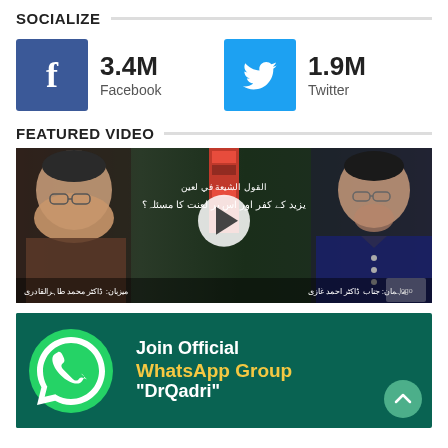SOCIALIZE
[Figure (infographic): Facebook icon (blue square with f) showing 3.4M followers, and Twitter icon (blue square with bird) showing 1.9M followers]
FEATURED VIDEO
[Figure (screenshot): Thumbnail of a featured video showing two men with Urdu text and a play button in the center]
[Figure (infographic): WhatsApp group promotion banner on dark teal background with WhatsApp logo and text: Join Official WhatsApp Group DrQadri]